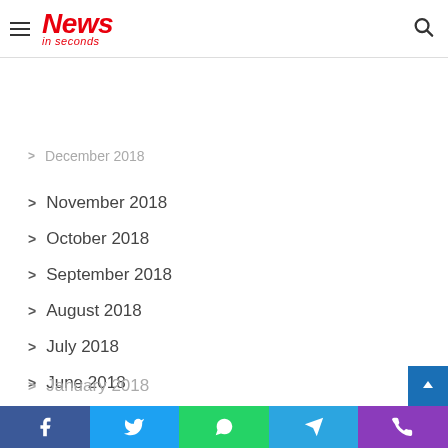News in seconds
February 2019
December 2018
November 2018
October 2018
September 2018
August 2018
July 2018
June 2018
May 2018
April 2018
March 2018
February 2018
January 2018